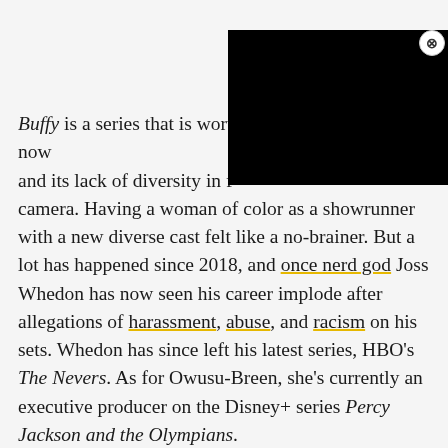[Figure (screenshot): Black rectangle overlay covering top-right portion of the page with a circular close button (X) in the top-right corner.]
Buffy is a series that is worth [obscured] once revolutionary but now [obscured] and its lack of diversity in f[obscured] camera. Having a woman of color as a showrunner with a new diverse cast felt like a no-brainer. But a lot has happened since 2018, and once nerd god Joss Whedon has now seen his career implode after allegations of harassment, abuse, and racism on his sets. Whedon has since left his latest series, HBO's The Nevers. As for Owusu-Breen, she's currently an executive producer on the Disney+ series Percy Jackson and the Olympians.